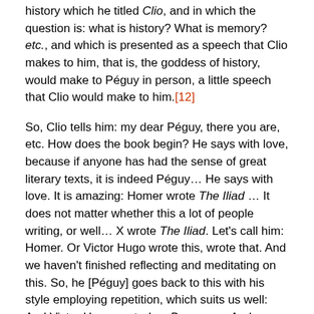history which he titled Clio, and in which the question is: what is history? What is memory? etc., and which is presented as a speech that Clio makes to him, that is, the goddess of history, would make to Péguy in person, a little speech that Clio would make to him.[12]
So, Clio tells him: my dear Péguy, there you are, etc. How does the book begin? He says with love, because if anyone has had the sense of great literary texts, it is indeed Péguy… He says with love. It is amazing: Homer wrote The Iliad … It does not matter whether this a lot of people writing, or well… X wrote The Iliad. Let's call him: Homer. Or Victor Hugo wrote this, wrote that. And we haven't finished reflecting and meditating on this. So, he [Péguy] goes back to this with his style employing repetition, which suits us well: And Victor Hugo wrote Les Burgraves. And Péguy, this is Clio speaking, and Péguy, you are not done reflecting on this; Péguy, you haven't finished